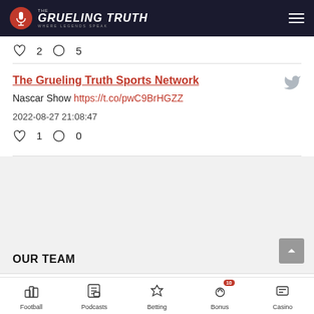THE GRUELING TRUTH — WHERE LEGENDS SPEAK
♡ 2   ◯ 5
The Grueling Truth Sports Network
Nascar Show https://t.co/pwC9BrHGZZ
2022-08-27 21:08:47
♡ 1   ◯ 0
OUR TEAM
Caesars Sports Bonus
100% up to $1250
Football  Podcasts  Betting  Bonus 10  Casino